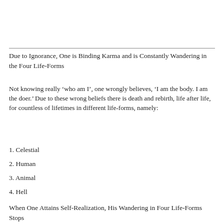Due to Ignorance, One is Binding Karma and is Constantly Wandering in the Four Life-Forms
Not knowing really ‘who am I’, one wrongly believes, ‘I am the body. I am the doer.’ Due to these wrong beliefs there is death and rebirth, life after life, for countless of lifetimes in different life-forms, namely:
1. Celestial
2. Human
3. Animal
4. Hell
When One Attains Self-Realization, His Wandering in Four Life-Forms Stops